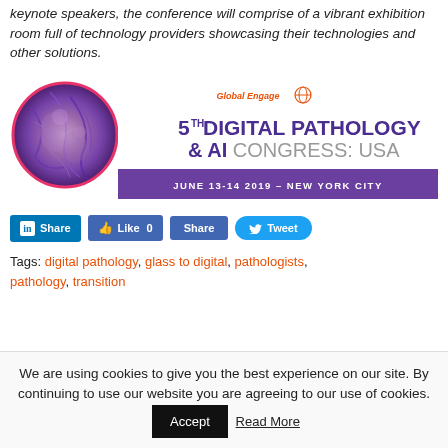keynote speakers, the conference will comprise of a vibrant exhibition room full of technology providers showcasing their technologies and other solutions.
[Figure (illustration): 5th Digital Pathology & AI Congress: USA banner. Global Engage logo at top, conference title in purple and grey text, date June 13-14 2019 - New York City on purple background bar. Left side shows pathology tissue slide image.]
Share | Like 0 | Share | Tweet (social media buttons)
Tags: digital pathology, glass to digital, pathologists, pathology, transition
We are using cookies to give you the best experience on our site. By continuing to use our website you are agreeing to our use of cookies. Accept | Read More